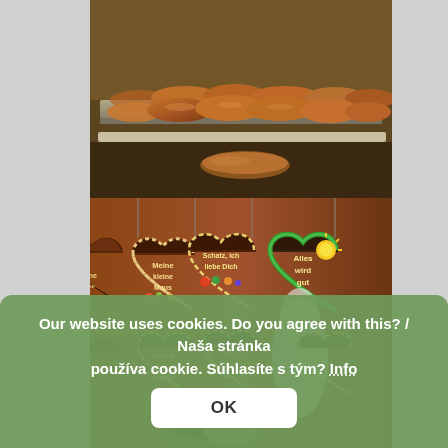[Figure (photo): Close-up photo of fried/battered food items (sausages or fried pastries) on a metal tray, warm golden-brown color.]
[Figure (photo): Photo of decorative gingerbread hearts (Lebkuchenherzen) hanging at a market stall. Hearts have German text: 'Meine kleine Maus', 'Schatz, ich liebe Dich', 'Alles wird gut', and smaller ones below. A person's head is partially visible at the bottom.]
Our website uses cookies. Do you agree with this? / Naša stránka používa cookie. Súhlasíte s tým? Info